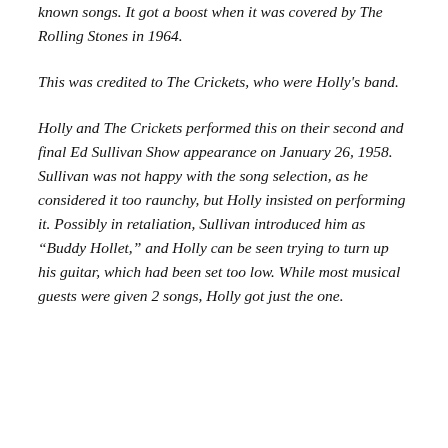known songs. It got a boost when it was covered by The Rolling Stones in 1964.
This was credited to The Crickets, who were Holly's band.
Holly and The Crickets performed this on their second and final Ed Sullivan Show appearance on January 26, 1958. Sullivan was not happy with the song selection, as he considered it too raunchy, but Holly insisted on performing it. Possibly in retaliation, Sullivan introduced him as “Buddy Hollet,” and Holly can be seen trying to turn up his guitar, which had been set too low. While most musical guests were given 2 songs, Holly got just the one.